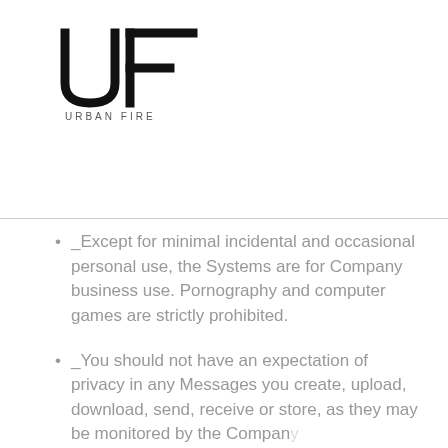[Figure (logo): Urban Fire logo: stylized UF letterform in black with 'URBAN FIRE' text below]
_Except for minimal incidental and occasional personal use, the Systems are for Company business use. Pornography and computer games are strictly prohibited.
_You should not have an expectation of privacy in any Messages you create, upload, download, send, receive or store, as they may be monitored by the Company